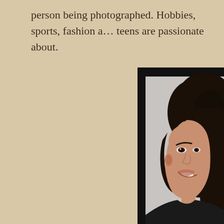person being photographed. Hobbies, sports, fashion a… teens are passionate about.
[Figure (photo): A teenage girl with dark hair smiling, shown from approximately the shoulders up against a light gray/white background, partially cropped. The photo is displayed in a black frame/mat.]